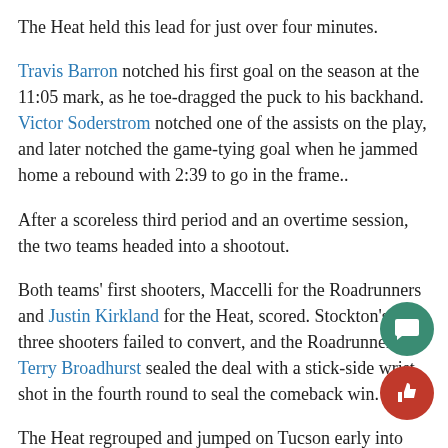The Heat held this lead for just over four minutes.
Travis Barron notched his first goal on the season at the 11:05 mark, as he toe-dragged the puck to his backhand. Victor Soderstrom notched one of the assists on the play, and later notched the game-tying goal when he jammed home a rebound with 2:39 to go in the frame..
After a scoreless third period and an overtime session, the two teams headed into a shootout.
Both teams' first shooters, Maccelli for the Roadrunners and Justin Kirkland for the Heat, scored. Stockton's next three shooters failed to convert, and the Roadrunners' Terry Broadhurst sealed the deal with a stick-side wrist shot in the fourth round to seal the comeback win.
The Heat regrouped and jumped on Tucson early into Saturday's rematch. With Prosvetov getting a start on a back-to-back, Glenn Gawdin launched a one-time shot into the net before Ilya Solovyov sent a wrist shot into a jam-packed crea...